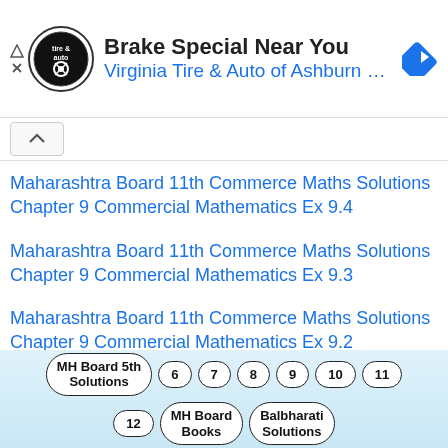[Figure (screenshot): Ad banner for Virginia Tire & Auto of Ashburn with logo, title 'Brake Special Near You', subtitle 'Virginia Tire & Auto of Ashburn ...', and a blue navigation arrow icon]
Maharashtra Board 11th Commerce Maths Solutions Chapter 9 Commercial Mathematics Ex 9.4
Maharashtra Board 11th Commerce Maths Solutions Chapter 9 Commercial Mathematics Ex 9.3
Maharashtra Board 11th Commerce Maths Solutions Chapter 9 Commercial Mathematics Ex 9.2
Maharashtra Board 11th Commerce Maths
MH Board 5th Solutions  6  7  8  9  10  11  12  MH Board Books  Balbharati Solutions